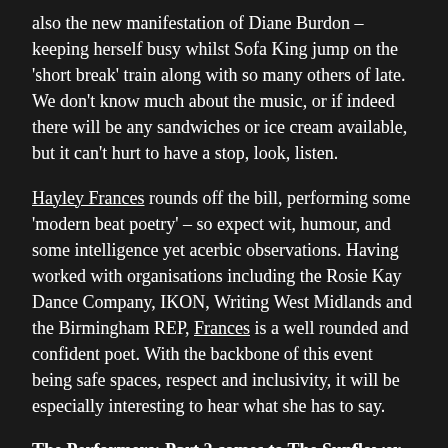also the new manifestation of Diane Burdon – keeping herself busy whilst Sofa King jump on the 'short break' train along with so many others of late. We don't know much about the music, or if indeed there will be any sandwiches or ice cream available, but it can't hurt to have a stop, look, listen.
Hayley Frances rounds off the bill, performing some 'modern beat poetry' – so expect wit, humour, and some intelligence yet acerbic observations. Having worked with organisations including the Rosie Kay Dance Company, IKON, Writing West Midlands and the Birmingham REP, Frances is a well rounded and confident poet. With the backbone of this event being safe spaces, respect and inclusivity, it will be especially interesting to hear what she has to say.
The Performers: Part 2 comes to The Sunflower